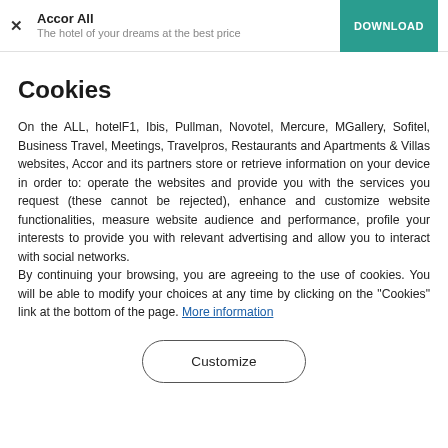Accor All
The hotel of your dreams at the best price
Cookies
On the ALL, hotelF1, Ibis, Pullman, Novotel, Mercure, MGallery, Sofitel, Business Travel, Meetings, Travelpros, Restaurants and Apartments & Villas websites, Accor and its partners store or retrieve information on your device in order to: operate the websites and provide you with the services you request (these cannot be rejected), enhance and customize website functionalities, measure website audience and performance, profile your interests to provide you with relevant advertising and allow you to interact with social networks.
By continuing your browsing, you are agreeing to the use of cookies. You will be able to modify your choices at any time by clicking on the "Cookies" link at the bottom of the page. More information